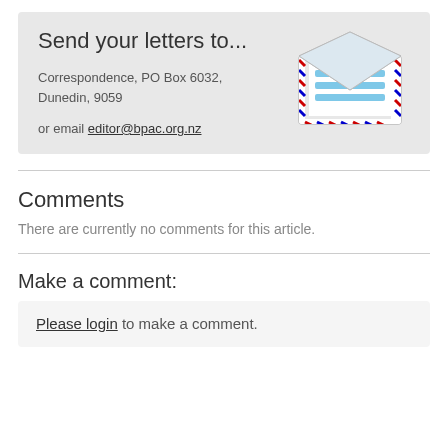[Figure (infographic): Gray box with 'Send your letters to...' heading, mailing address, email link, and an envelope icon illustration]
Comments
There are currently no comments for this article.
Make a comment:
Please login to make a comment.